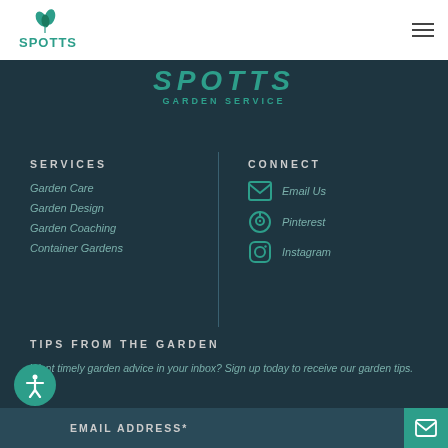Spotts Garden Service - Navigation header with logo and hamburger menu
[Figure (logo): Spotts Garden Service logo with green plant leaves icon and text SPOTTS GARDEN SERVICE centered on dark background]
SERVICES
Garden Care
Garden Design
Garden Coaching
Container Gardens
CONNECT
Email Us
Pinterest
Instagram
TIPS FROM THE GARDEN
Want timely garden advice in your inbox? Sign up today to receive our garden tips.
EMAIL ADDRESS*